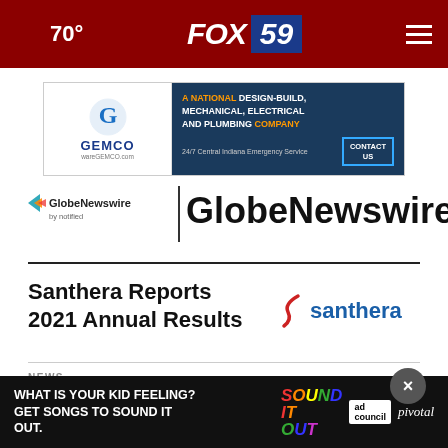🌙 70° | FOX 59
[Figure (screenshot): GEMCO advertisement banner — A National Design-Build, Mechanical, Electrical and Plumbing Company. Contact Us. 24/7 Central Indiana Emergency Service.]
[Figure (logo): GlobeNewswire by notified logo with play-arrow icon and wordmark]
GlobeNewswire
Santhera Reports 2021 Annual Results
[Figure (logo): Santhera logo — stylized red swoosh with 'santhera' in blue text]
NEWS
Santhe...
Jun 10, 2022, 1:00 AM ET
[Figure (screenshot): Bottom advertisement — What is your kid feeling? Get songs to sound it out. Sound It Out. ad council. pivotal.]